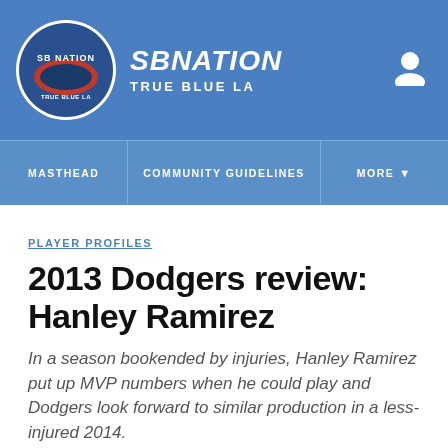SBNATION TRUE BLUE LA
MASTHEAD | COMMUNITY GUIDELINES | MORE
PLAYER PROFILES
2013 Dodgers review: Hanley Ramirez
In a season bookended by injuries, Hanley Ramirez put up MVP numbers when he could play and Dodgers look forward to similar production in a less-injured 2014.
By Craig Minami | Nov 7, 2013, 5:30pm PST